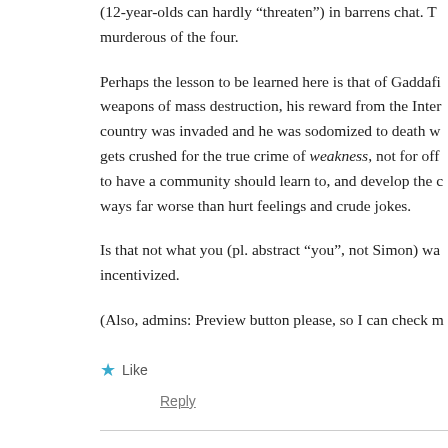(12-year-olds can hardly “threaten”) in barrens chat. T… murderous of the four.
Perhaps the lesson to be learned here is that of Gaddafi… weapons of mass destruction, his reward from the Inter… country was invaded and he was sodomized to death w… gets crushed for the true crime of weakness, not for off… to have a community should learn to, and develop the c… ways far worse than hurt feelings and crude jokes.
Is that not what you (pl. abstract “you”, not Simon) wa… incentivized.
(Also, admins: Preview button please, so I can check m…
★ Like
Reply